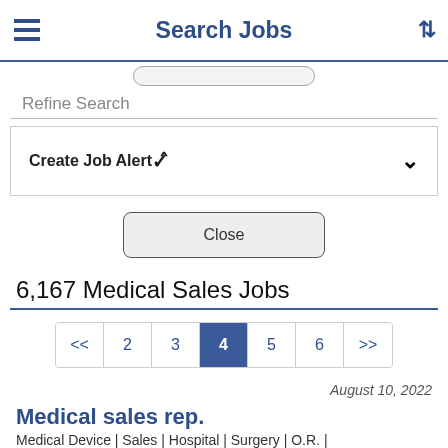Search Jobs
Refine Search
Create Job Alert
Close
6,167 Medical Sales Jobs
<< 2 3 4 5 6 >>
August 10, 2022
Medical sales rep.
Medical Device | Sales | Hospital | Surgery | O.R. |